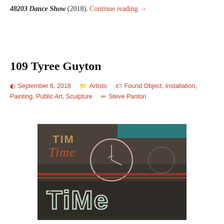48203 Dance Show (2018). Continue reading →
109 Tyree Guyton
September 6, 2018   Artists   Found Object, Installation, Painting, Public Art, Sculpture   Steve Panton
[Figure (photo): Photograph of chalk or paint art on pavement showing the word 'Time' written in large letters, with a clock circle drawn in chalk above it, on a dark asphalt surface.]